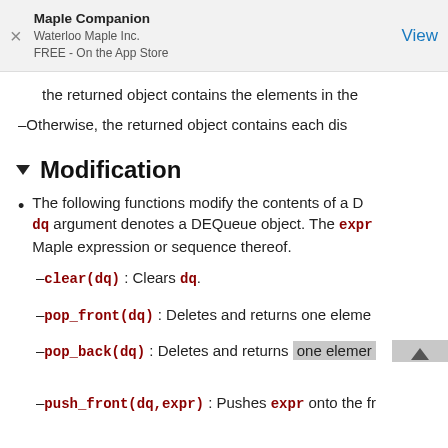Maple Companion
Waterloo Maple Inc.
FREE - On the App Store
the returned object contains the elements in the
–Otherwise, the returned object contains each dis
Modification
The following functions modify the contents of a DEQueue object. The dq argument denotes a DEQueue object. The expr argument is any Maple expression or sequence thereof.
–clear(dq) : Clears dq.
–pop_front(dq) : Deletes and returns one eleme
–pop_back(dq) : Deletes and returns one elemer
–push_front(dq,expr) : Pushes expr onto the fr